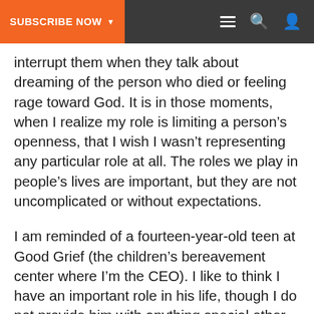SUBSCRIBE NOW ▾
interrupt them when they talk about dreaming of the person who died or feeling rage toward God. It is in those moments, when I realize my role is limiting a person's openness, that I wish I wasn't representing any particular role at all. The roles we play in people's lives are important, but they are not uncomplicated or without expectations.
I am reminded of a fourteen-year-old teen at Good Grief (the children's bereavement center where I'm the CEO). I like to think I have an important role in his life, though I do not provide him with anything special other than laughter and listening, which is to say that I listen to all of his jokes and laugh on cue. Recently, when I asked nocuous questions